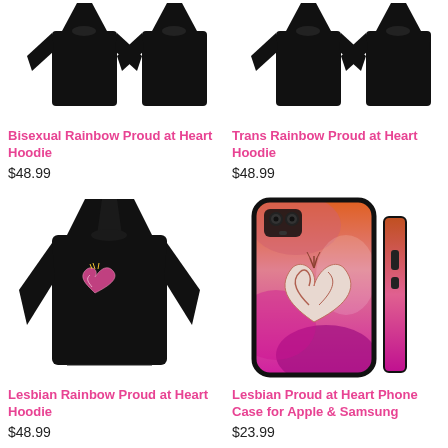[Figure (photo): Black hoodie sweatshirt front and back view on white background]
[Figure (photo): Black hoodie sweatshirt front and back view on white background]
Bisexual Rainbow Proud at Heart Hoodie
$48.99
Trans Rainbow Proud at Heart Hoodie
$48.99
[Figure (photo): Black hoodie with anatomical heart design on chest]
[Figure (photo): Phone case with pink and orange gradient and anatomical heart, shown front and side for Apple and Samsung]
Lesbian Rainbow Proud at Heart Hoodie
$48.99
Lesbian Proud at Heart Phone Case for Apple & Samsung
$23.99